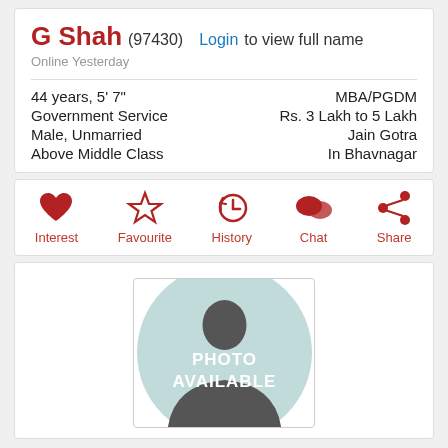G Shah (97430) Login to view full name
Online Yesterday
44 years, 5' 7"
Government Service
Male, Unmarried
Above Middle Class
MBA/PGDM
Rs. 3 Lakh to 5 Lakh
Jain Gotra
In Bhavnagar
[Figure (infographic): Action buttons row: Interest (heart icon), Favourite (star icon), History (clock icon), Chat (speech bubble icon), Share (share icon) — all in red]
[Figure (photo): Default profile placeholder: circular avatar with silhouette on teal/mint background, text PHOTO AVAILABLE in white]